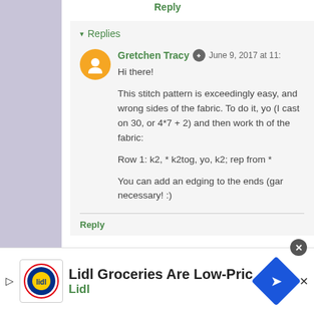Reply
▾ Replies
Gretchen Tracy  June 9, 2017 at 11:
Hi there!

This stitch pattern is exceedingly easy, and wrong sides of the fabric. To do it, yo (I cast on 30, or 4*7 + 2) and then work th of the fabric:

Row 1: k2, * k2tog, yo, k2; rep from *

You can add an edging to the ends (gar necessary! :)
Reply
[Figure (screenshot): Lidl advertisement banner: Lidl logo, text 'Lidl Groceries Are Low-Priced', 'Lidl', navigation icon, close button]